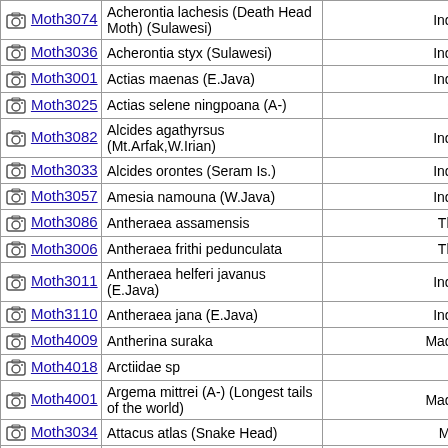| ID | Species Name | Country |
| --- | --- | --- |
| Moth3074 | Acherontia lachesis (Death Head Moth) (Sulawesi) | Indone... |
| Moth3036 | Acherontia styx (Sulawesi) | Indone... |
| Moth3001 | Actias maenas (E.Java) | Indone... |
| Moth3025 | Actias selene ningpoana (A-) | Chin... |
| Moth3082 | Alcides agathyrsus (Mt.Arfak,W.Irian) | Indone... |
| Moth3033 | Alcides orontes (Seram Is.) | Indone... |
| Moth3057 | Amesia namouna (W.Java) | Indone... |
| Moth3086 | Antheraea assamensis | Thaila... |
| Moth3006 | Antheraea frithi pedunculata | Thaila... |
| Moth3011 | Antheraea helferi javanus (E.Java) | Indone... |
| Moth3110 | Antheraea jana (E.Java) | Indone... |
| Moth4009 | Antherina suraka | Madaga... |
| Moth4018 | Arctiidae sp | Per... |
| Moth4001 | Argema mittrei (A-) (Longest tails of the world) | Madaga... |
| Moth3034 | Attacus atlas (Snake Head) | Malay... |
| Moth3002 | Attacus atlas (Snake Head) | Thaila... |